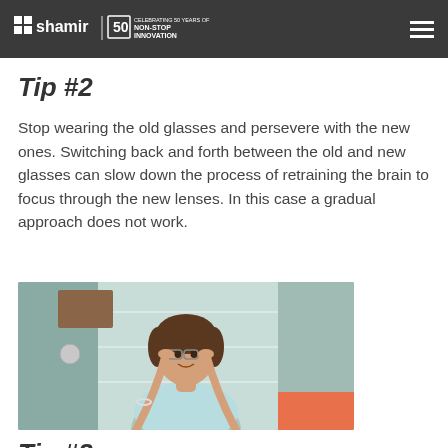brain to adjust. It takes time but it's worth it in the end.
Shamir | 50 Celebrating 50 Years of Non-Stop Innovation
Tip #2
Stop wearing the old glasses and persevere with the new ones. Switching back and forth between the old and new glasses can slow down the process of retraining the brain to focus through the new lenses. In this case a gradual approach does not work.
[Figure (photo): A smiling woman trying on glasses in an optical store, holding the frames with both hands, with display cases visible in the background.]
Tip #3